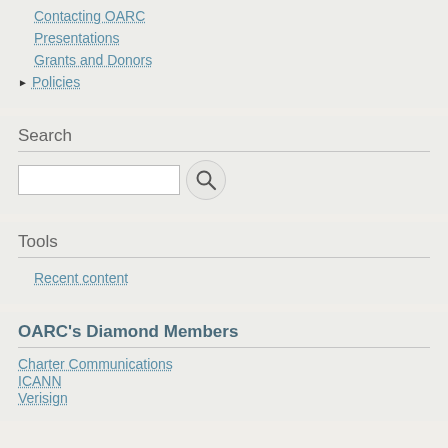Contacting OARC
Presentations
Grants and Donors
Policies
Search
Tools
Recent content
OARC's Diamond Members
Charter Communications
ICANN
Verisign